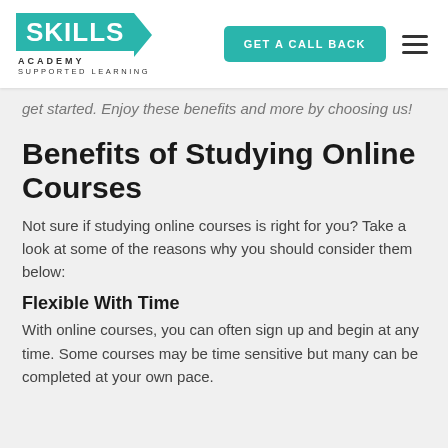Skills Academy – Supported Learning | GET A CALL BACK
get started. Enjoy these benefits and more by choosing us!
Benefits of Studying Online Courses
Not sure if studying online courses is right for you? Take a look at some of the reasons why you should consider them below:
Flexible With Time
With online courses, you can often sign up and begin at any time. Some courses may be time sensitive but many can be completed at your own pace.